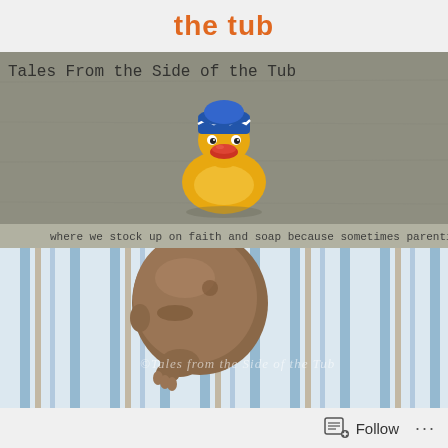the tub
[Figure (photo): Blog header image showing a rubber duck toy wearing a colorful striped hat, on a gray concrete/stone surface. Text overlay reads 'Tales From the Side of the Tub' at top and 'where we stock up on faith and soap because sometimes parenting is messy!' at bottom.]
[Figure (photo): Close-up photograph of a newborn baby sleeping wrapped in a blue and brown striped blanket/swaddle. Copyright watermark 'Tales from the Side of the Tub' is overlaid on the image.]
Follow ...